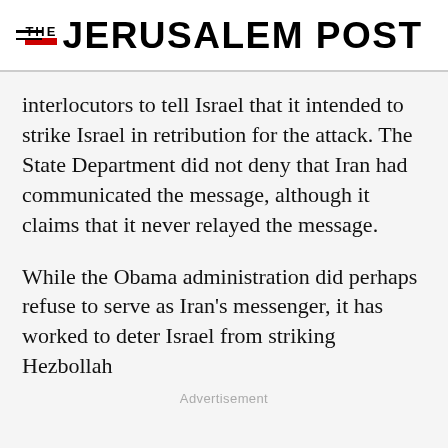THE JERUSALEM POST
interlocutors to tell Israel that it intended to strike Israel in retribution for the attack. The State Department did not deny that Iran had communicated the message, although it claims that it never relayed the message.
While the Obama administration did perhaps refuse to serve as Iran's messenger, it has worked to deter Israel from striking Hezbollah
Advertisement